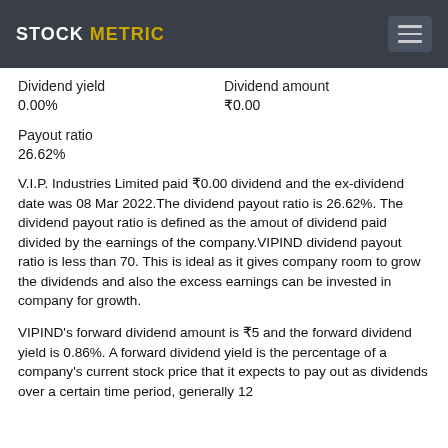STOCK METRIC
Dividend yield
0.00%
Dividend amount
₹0.00
Payout ratio
26.62%
V.I.P. Industries Limited paid ₹0.00 dividend and the ex-dividend date was 08 Mar 2022.The dividend payout ratio is 26.62%. The dividend payout ratio is defined as the amout of dividend paid divided by the earnings of the company.VIPIND dividend payout ratio is less than 70. This is ideal as it gives company room to grow the dividends and also the excess earnings can be invested in company for growth.
VIPIND's forward dividend amount is ₹5 and the forward dividend yield is 0.86%. A forward dividend yield is the percentage of a company's current stock price that it expects to pay out as dividends over a certain time period, generally 12